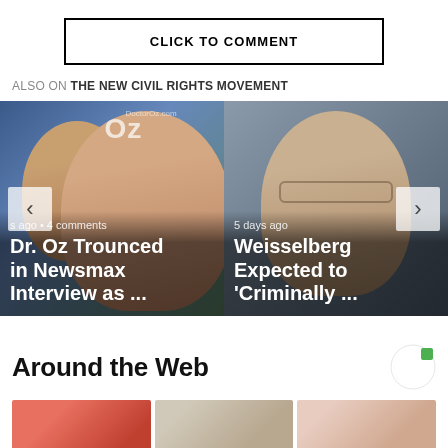CLICK TO COMMENT
ALSO ON THE NEW CIVIL RIGHTS MOVEMENT
[Figure (screenshot): Carousel of two article thumbnails. Left: Dr. Oz photo with headline 'Dr. Oz Trounced in Newsmax Interview as ...' with timestamp 's ago • 4 comments'. Right: Weisselberg photo with headline 'Weisselberg Expected to Criminally ...' with timestamp '5 days ago'. Navigation arrows on left and right.]
Around the Web
[Figure (photo): Three thumbnail images in a row at the bottom of the page]